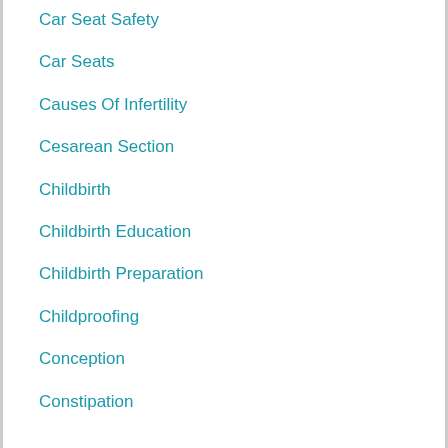Car Seat Safety
Car Seats
Causes Of Infertility
Cesarean Section
Childbirth
Childbirth Education
Childbirth Preparation
Childproofing
Conception
Constipation